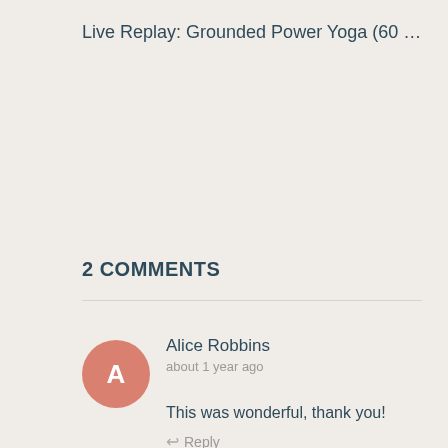Live Replay: Grounded Power Yoga (60 …
2 COMMENTS
Alice Robbins
about 1 year ago

This was wonderful, thank you!

↩ Reply
almost 2 years ago